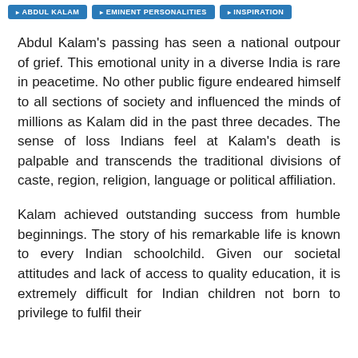ABDUL KALAM | EMINENT PERSONALITIES | INSPIRATION
Abdul Kalam's passing has seen a national outpour of grief. This emotional unity in a diverse India is rare in peacetime. No other public figure endeared himself to all sections of society and influenced the minds of millions as Kalam did in the past three decades. The sense of loss Indians feel at Kalam's death is palpable and transcends the traditional divisions of caste, region, religion, language or political affiliation.
Kalam achieved outstanding success from humble beginnings. The story of his remarkable life is known to every Indian schoolchild. Given our societal attitudes and lack of access to quality education, it is extremely difficult for Indian children not born to privilege to fulfil their